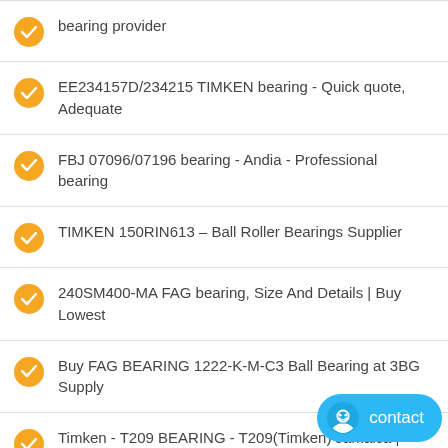bearing provider
EE234157D/234215 TIMKEN bearing - Quick quote, Adequate
FBJ 07096/07196 bearing - Andia - Professional bearing
TIMKEN 150RIN613 – Ball Roller Bearings Supplier
240SM400-MA FAG bearing, Size And Details | Buy Lowest
Buy FAG BEARING 1222-K-M-C3 Ball Bearing at 3BG Supply
Timken - T209 BEARING - T209(Timken) Jamaica | CRB BEARING
C4032K30V AH24032 SKF Bearing global be brand authorized bearing